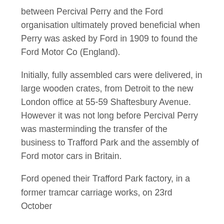between Percival Perry and the Ford organisation ultimately proved beneficial when Perry was asked by Ford in 1909 to found the Ford Motor Co (England).
Initially, fully assembled cars were delivered, in large wooden crates, from Detroit to the new London office at 55-59 Shaftesbury Avenue. However it was not long before Percival Perry was masterminding the transfer of the business to Trafford Park and the assembly of Ford motor cars in Britain.
Ford opened their Trafford Park factory, in a former tramcar carriage works, on 23rd October